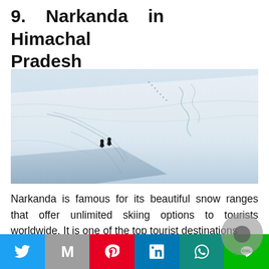9. Narkanda in Himachal Pradesh
[Figure (photo): Two skiers on a vast snow-covered mountain slope with ski tracks visible across the snow.]
Narkanda is famous for its beautiful snow ranges that offer unlimited skiing options to tourists worldwide. It is one of the top tourist destinations
Twitter | Gmail | Pinterest | LinkedIn | WhatsApp | LINE